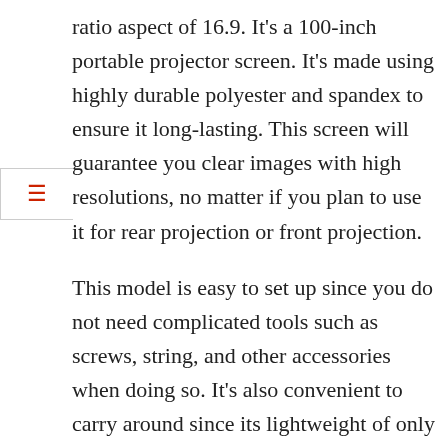ratio aspect of 16.9. It's a 100-inch portable projector screen. It's made using highly durable polyester and spandex to ensure it long-lasting. This screen will guarantee you clear images with high resolutions, no matter if you plan to use it for rear projection or front projection.

This model is easy to set up since you do not need complicated tools such as screws, string, and other accessories when doing so. It's also convenient to carry around since its lightweight of only 6lbs. You can conveniently carry it along with you when on family trips, backyard movie nights, and much more. The package also includes a